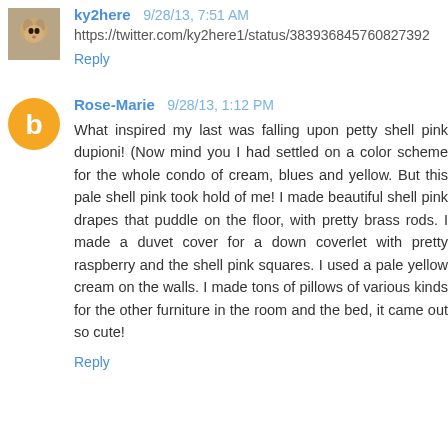ky2here  9/28/13, 7:51 AM
https://twitter.com/ky2here1/status/383936845760827392
Reply
Rose-Marie  9/28/13, 1:12 PM
What inspired my last was falling upon petty shell pink dupioni! (Now mind you I had settled on a color scheme for the whole condo of cream, blues and yellow. But this pale shell pink took hold of me! I made beautiful shell pink drapes that puddle on the floor, with pretty brass rods. I made a duvet cover for a down coverlet with pretty raspberry and the shell pink squares. I used a pale yellow cream on the walls. I made tons of pillows of various kinds for the other furniture in the room and the bed, it came out so cute!
Reply